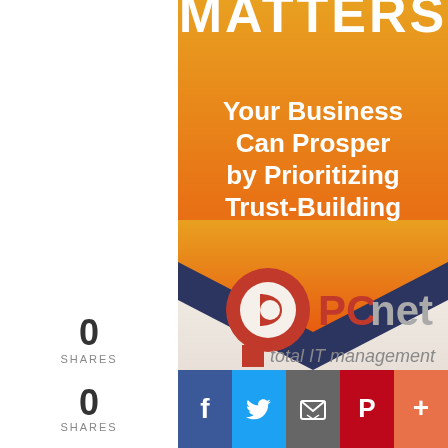[Figure (illustration): PCnet total IT management book cover showing orange gradient background with text 'MATTERS Your Business Can Prosper by Prioritizing Trust-Building' and chevron/arrow design with PCnet logo at bottom]
0
SHARES
[Figure (infographic): Social sharing bar with Facebook, Twitter, Email, Pinterest, and More (+) buttons]